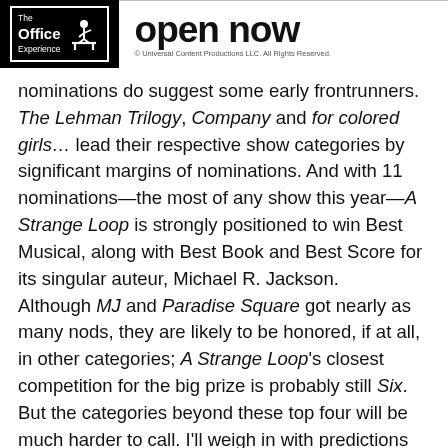The Office Experience | open now | © Universal Content Productions LLC. All Rights Reserved.
nominations do suggest some early frontrunners. The Lehman Trilogy, Company and for colored girls… lead their respective show categories by significant margins of nominations. And with 11 nominations—the most of any show this year—A Strange Loop is strongly positioned to win Best Musical, along with Best Book and Best Score for its singular auteur, Michael R. Jackson. Although MJ and Paradise Square got nearly as many nods, they are likely to be honored, if at all, in other categories; A Strange Loop's closest competition for the big prize is probably still Six. But the categories beyond these top four will be much harder to call. I'll weigh in with predictions on those ones a month from now, when the dust has settled a bit. Stay tuned.